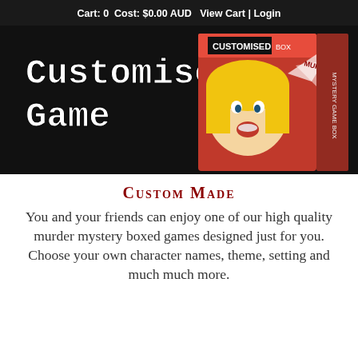Cart: 0 Cost: $0.00 AUD  View Cart | Login
[Figure (photo): Product image on black background: 'Customised Game' text in white serif typewriter font on left, and a comic-book style murder mystery box game on the right with a dramatic woman illustration.]
Custom Made
You and your friends can enjoy one of our high quality murder mystery boxed games designed just for you. Choose your own character names, theme, setting and much much more.